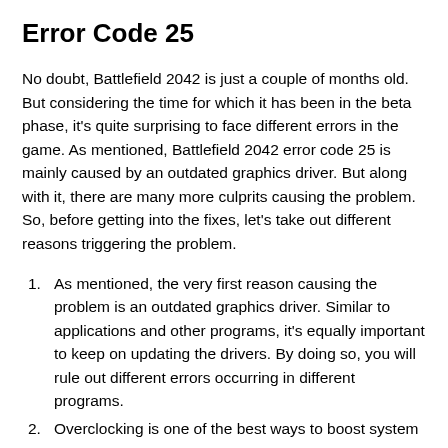Error Code 25
No doubt, Battlefield 2042 is just a couple of months old. But considering the time for which it has been in the beta phase, it's quite surprising to face different errors in the game. As mentioned, Battlefield 2042 error code 25 is mainly caused by an outdated graphics driver. But along with it, there are many more culprits causing the problem. So, before getting into the fixes, let's take out different reasons triggering the problem.
As mentioned, the very first reason causing the problem is an outdated graphics driver. Similar to applications and other programs, it's equally important to keep on updating the drivers. By doing so, you will rule out different errors occurring in different programs.
Overclocking is one of the best ways to boost system